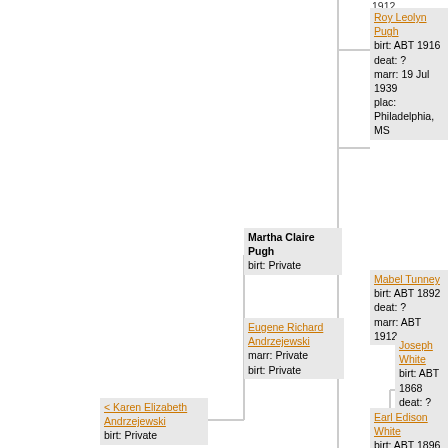[Figure (other): Genealogy/family tree diagram showing ancestry connections. Nodes include: Roy Leolyn Pugh (birt: ABT 1916, deat: ?, marr: 19 Jul 1939, plac: Philadelphia, MS), Mabel Tunney (birt: ABT 1892, deat: ?, marr: ABT 1912), Martha Claire Pugh (birt: Private), Eugene Richard Andrzejewski (marr: Private, birt: Private), < Karen Elizabeth Andrzejewski (birt: Private), Joseph White (birt: ABT 1868, deat: ?, marr: ABT 189...), Earl Edison White (birt: ABT 1896, deat: ?). A date '1912' appears at top right.]